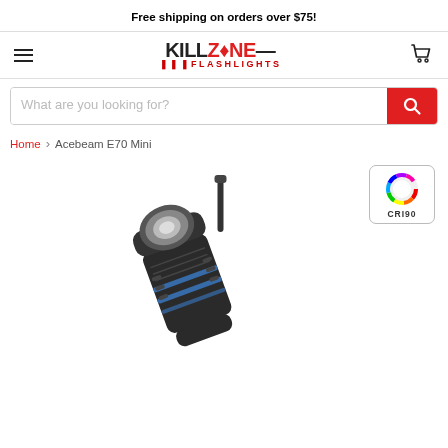Free shipping on orders over $75!
[Figure (logo): Killzone Flashlights logo with hamburger menu and cart icon navigation bar]
[Figure (screenshot): Search bar with text placeholder 'What are you looking for?' and red search button]
Home > Acebeam E70 Mini
[Figure (photo): Acebeam E70 Mini flashlight product photo on white background with CRI90 badge in top right]